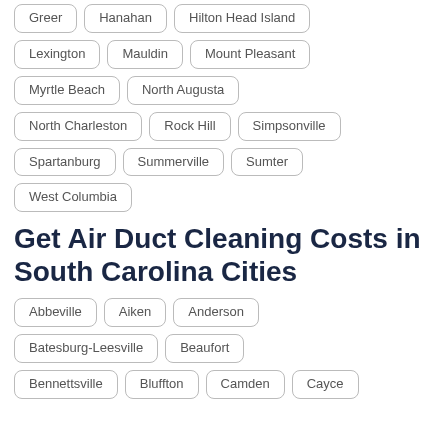Greer
Hanahan
Hilton Head Island
Lexington
Mauldin
Mount Pleasant
Myrtle Beach
North Augusta
North Charleston
Rock Hill
Simpsonville
Spartanburg
Summerville
Sumter
West Columbia
Get Air Duct Cleaning Costs in South Carolina Cities
Abbeville
Aiken
Anderson
Batesburg-Leesville
Beaufort
Bennettsville
Bluffton
Camden
Cayce